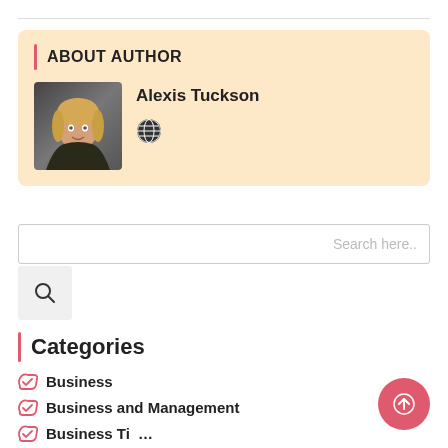ABOUT AUTHOR
Alexis Tuckson
[Figure (other): Globe/website icon]
[Figure (photo): Portrait photo of Alexis Tuckson, a woman with blonde hair wearing a dark jacket, posed against a dark background]
Categories
Business
Business and Management
Business Tips (partially visible)